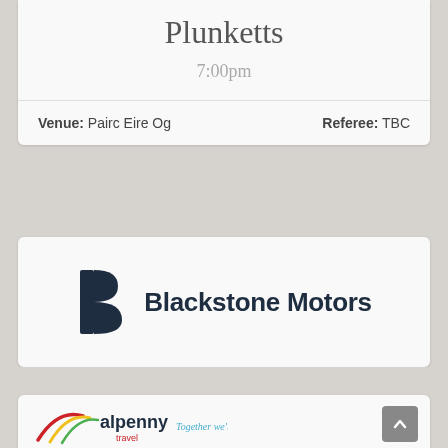Plunketts
7:00pm
Venue: Pairc Eire Og    Referee: TBC
[Figure (logo): Blackstone Motors logo with stylized B icon and bold sans-serif text]
[Figure (logo): Alpenny travel logo with diagonal swoosh lines in red, yellow and green, with text 'Together we'll go places']